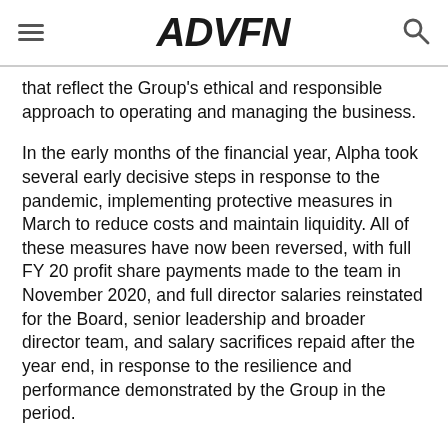ADVFN
that reflect the Group's ethical and responsible approach to operating and managing the business.
In the early months of the financial year, Alpha took several early decisive steps in response to the pandemic, implementing protective measures in March to reduce costs and maintain liquidity. All of these measures have now been reversed, with full FY 20 profit share payments made to the team in November 2020, and full director salaries reinstated for the Board, senior leadership and broader director team, and salary sacrifices repaid after the year end, in response to the resilience and performance demonstrated by the Group in the period.
Alpha will continue to monitor the COVID-19 situation closely and will act sensitively and appropriately in managing the Group in the interests of all stakeholders.